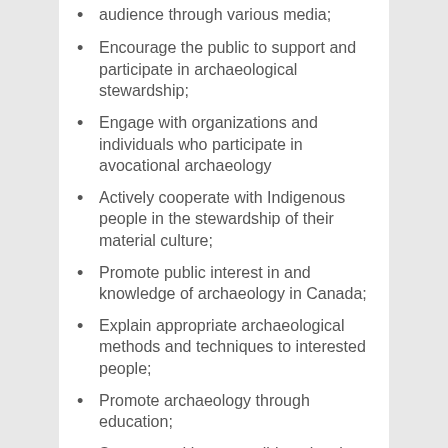audience through various media;
Encourage the public to support and participate in archaeological stewardship;
Engage with organizations and individuals who participate in avocational archaeology
Actively cooperate with Indigenous people in the stewardship of their material culture;
Promote public interest in and knowledge of archaeology in Canada;
Explain appropriate archaeological methods and techniques to interested people;
Promote archaeology through education;
Support and be accessible to local archaeological and other heritage groups;
Promote and integrate reconciliation and social justice into their